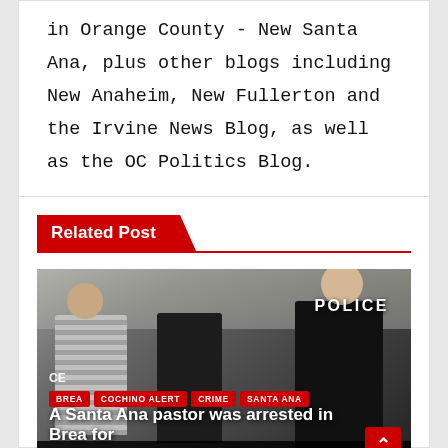in Orange County - New Santa Ana, plus other blogs including New Anaheim, New Fullerton and the Irvine News Blog, as well as the OC Politics Blog.
Related Post
[Figure (photo): Photo of police officers and a civilian in a store, viewed from behind. Officers in black uniforms with POLICE text visible. Tags: BREA, COCHINO ALERT, CRIME, SANTA ANA. Article title: 'A Santa Ana pastor was arrested in Brea for'. Date: AUG 31, 2022. Author: EDITOR.]